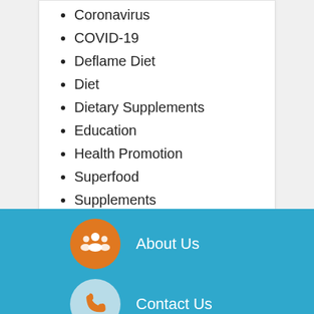Coronavirus
COVID-19
Deflame Diet
Diet
Dietary Supplements
Education
Health Promotion
Superfood
Supplements
Uncategorized
[Figure (infographic): Orange circle icon with group/people symbol, labeled 'About Us' in white text on blue background]
[Figure (infographic): Light blue/white circle icon with phone symbol, labeled 'Contact Us' in white text on blue background]